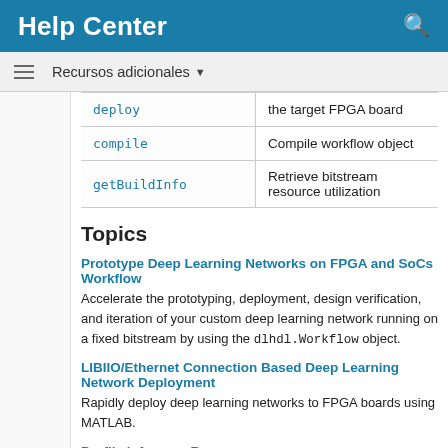Help Center
| Method | Description |
| --- | --- |
| deploy | the target FPGA board |
| compile | Compile workflow object |
| getBuildInfo | Retrieve bitstream resource utilization |
Topics
Prototype Deep Learning Networks on FPGA and SoCs Workflow
Accelerate the prototyping, deployment, design verification, and iteration of your custom deep learning network running on a fixed bitstream by using the dlhdl.Workflow object.
LIBIIO/Ethernet Connection Based Deep Learning Network Deployment
Rapidly deploy deep learning networks to FPGA boards using MATLAB.
Profile Inference Run
Obtain performance parameters of an inference run performed